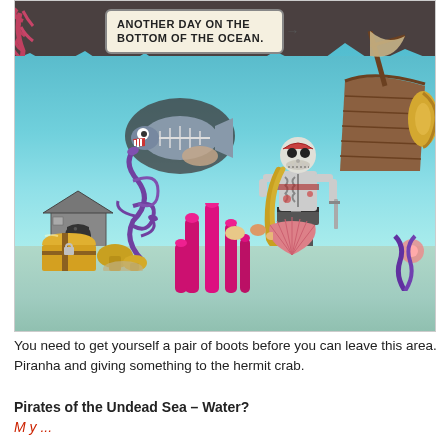[Figure (screenshot): A video game screenshot showing an underwater ocean floor scene titled 'Another Day on the Bottom of the Ocean.' Features a zombie/undead pirate skeleton character standing on sandy bottom, a small wooden hut on the left, a shipwreck in the upper right, a treasure chest in the lower left, purple seaweed, pink coral, shells, and a fish creature in the background cave area.]
You need to get yourself a pair of boots before you can leave this area. Piranha and giving something to the hermit crab.
Pirates of the Undead Sea – Water?